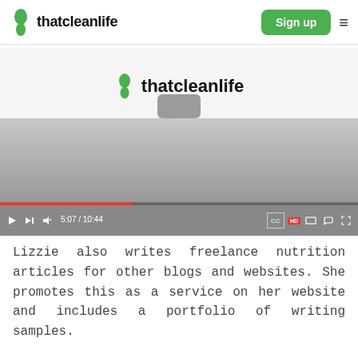thatcleanlife | Sign up
[Figure (screenshot): Embedded video player showing thatcleanlife logo in center, video progress at 5:07 / 10:44, playback controls including play, next, volume, CC, HD, fullscreen icons, and red progress bar at ~37%]
Lizzie also writes freelance nutrition articles for other blogs and websites. She promotes this as a service on her website and includes a portfolio of writing samples.
[Figure (photo): Partially visible photo at bottom of page showing what appears to be a person near gold/brass tripod legs against a light background]